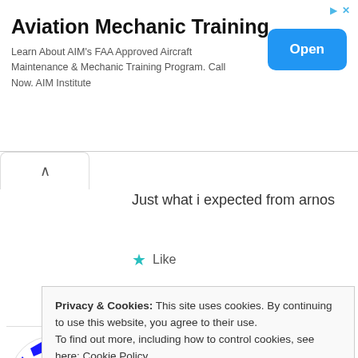[Figure (screenshot): Advertisement banner for Aviation Mechanic Training with Open button]
Just what i expected from arnos
★ Like
REPLY
maling mangga
Privacy & Cookies: This site uses cookies. By continuing to use this website, you agree to their use.
To find out more, including how to control cookies, see here: Cookie Policy
Close and accept